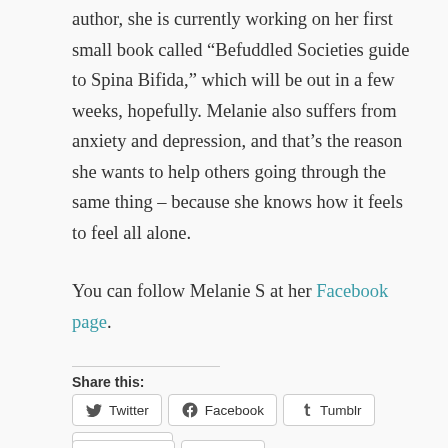author, she is currently working on her first small book called “Befuddled Societies guide to Spina Bifida,” which will be out in a few weeks, hopefully. Melanie also suffers from anxiety and depression, and that’s the reason she wants to help others going through the same thing – because she knows how it feels to feel all alone.
You can follow Melanie S at her Facebook page.
Share this:
[Figure (screenshot): Social share buttons: Twitter, Facebook, Tumblr, LinkedIn, Pinterest, Email]
[Figure (screenshot): Like button and 4 blogger avatars with '4 bloggers like this.' text]